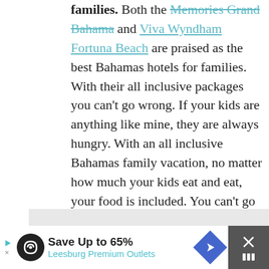families. Both the Memories Grand Bahama and Viva Wyndham Fortuna Beach are praised as the best Bahamas hotels for families. With their all inclusive packages you can't go wrong. If your kids are anything like mine, they are always hungry. With an all inclusive Bahamas family vacation, no matter how much your kids eat and eat, your food is included. You can't go wrong experiencing your Bahamas family vacation at one of these locations, especially when you consider our next reason.
[Figure (screenshot): Heart (favorite) button - teal circular icon with white heart]
[Figure (screenshot): Share button - light gray circular icon with share/network icon]
[Figure (screenshot): What's Next promotional widget showing National Night Out article with circular photo]
[Figure (screenshot): Advertisement banner: Save Up to 65% - Leesburg Premium Outlets]